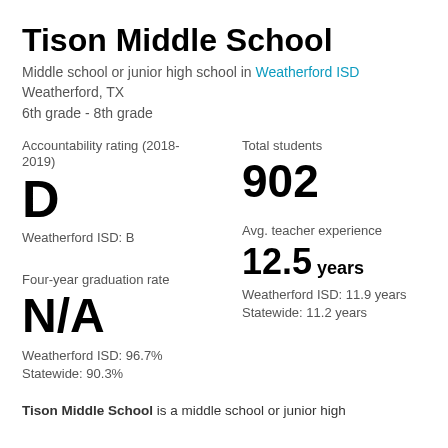Tison Middle School
Middle school or junior high school in Weatherford ISD
Weatherford, TX
6th grade - 8th grade
Accountability rating (2018-2019)
D
Weatherford ISD: B
Total students
902
Avg. teacher experience
12.5 years
Weatherford ISD: 11.9 years
Statewide: 11.2 years
Four-year graduation rate
N/A
Weatherford ISD: 96.7%
Statewide: 90.3%
Tison Middle School is a middle school or junior high